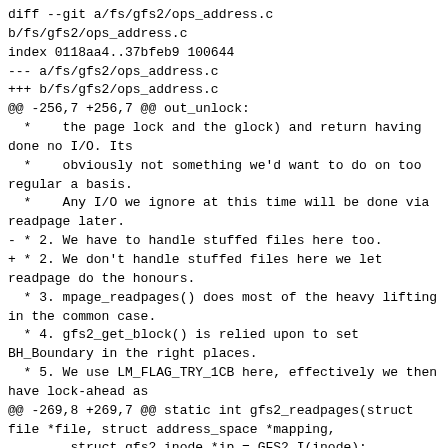diff --git a/fs/gfs2/ops_address.c b/fs/gfs2/ops_address.c
index 0118aa4..37bfeb9 100644
--- a/fs/gfs2/ops_address.c
+++ b/fs/gfs2/ops_address.c
@@ -256,7 +256,7 @@ out_unlock:
 *    the page lock and the glock) and return having done no I/O. Its
 *    obviously not something we'd want to do on too regular a basis.
 *    Any I/O we ignore at this time will be done via readpage later.
- * 2. We have to handle stuffed files here too.
+ * 2. We don't handle stuffed files here we let readpage do the honours.
 * 3. mpage_readpages() does most of the heavy lifting in the common case.
 * 4. gfs2_get_block() is relied upon to set BH_Boundary in the right places.
 * 5. We use LM_FLAG_TRY_1CB here, effectively we then have lock-ahead as
@@ -269,8 +269,7 @@ static int gfs2_readpages(struct file *file, struct address_space *mapping,
        struct gfs2_inode *ip = GFS2_I(inode);
        struct gfs2_sbd *sdp = GFS2_SB(inode);
        struct gfs2_holder gh;
-       unsigned page_idx;
-       int ret;
+       int ret = 0;
        int do_unlock = 0;